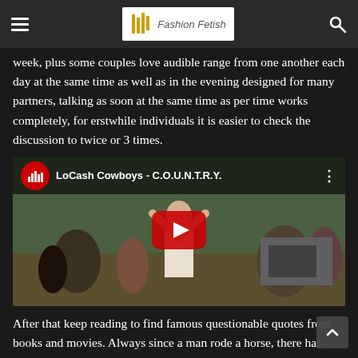Fashion Fetish
week, plus some couples love audible range from one another each day at the same time as well as in the evening designed for many partners, talking as soon at the same time as per time works completely, for erstwhile individuals it is easier to check the discussion to twice or 3 times.
[Figure (screenshot): YouTube video embed showing LoCash Cowboys - C.O.U.N.T.R.Y. music video with play button overlay]
After that keep reading to find famous questionable quotes from books and movies. Always since a man rode a horse, there has been cowboy wisdom. These witty Western